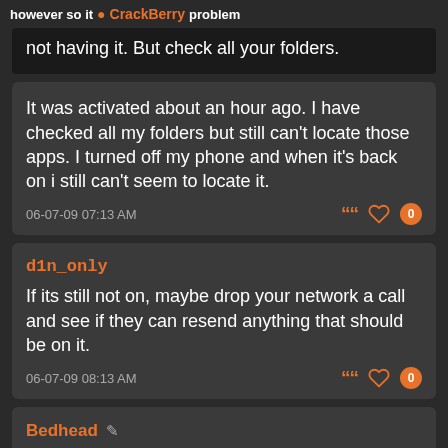however so it CrackBerry problem
not having it. But check all your folders.
It was activated about an hour ago. I have checked all my folders but still can't locate those apps. I turned off my phone and when it's back on i still can't seem to locate it.
06-07-09 07:13 AM
d1n_only
If its still not on, maybe drop your network a call and see if they can resend anything that should be on it.
06-07-09 08:13 AM
Bedhead
I've got it sorted out with my telco.